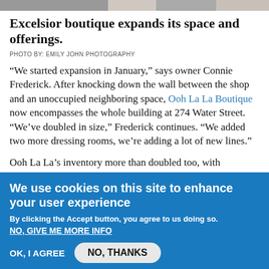[Figure (photo): Top strip showing a partial photo of a boutique interior]
Excelsior boutique expands its space and offerings.
PHOTO BY: EMILY JOHN PHOTOGRAPHY
“We started expansion in January,” says owner Connie Frederick. After knocking down the wall between the shop and an unoccupied neighboring space, Ooh La La Boutique now encompasses the whole building at 274 Water Street. “We’ve doubled in size,” Frederick continues. “We added two more dressing rooms, we’re adding a lot of new lines.”
Ooh La La’s inventory more than doubled too, with expanding selections from popular lines and more options to browse through overall. “We were already working with Free People, but we upped our inventory with them,” says Frederick. “Kut from the Kloth is also a huge line for us, and we tripled our...
We use cookies on this site to enhance your user experience
By clicking the Accept button, you agree to us doing so.
NO, GIVE ME MORE INFO
OK, I AGREE    NO, THANKS